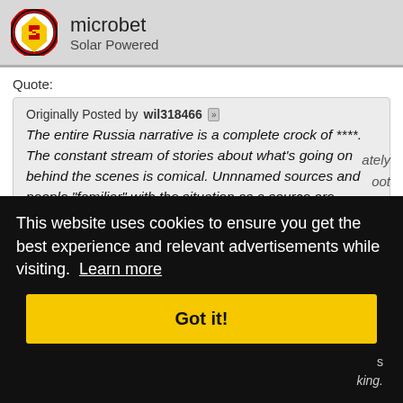microbet
Solar Powered
Quote:
Originally Posted by wil318466
The entire Russia narrative is a complete crock of ****. The constant stream of stories about what's going on behind the scenes is comical. Unnnamed sources and people "familiar" with the situation as a source are hilarious.
This website uses cookies to ensure you get the best experience and relevant advertisements while visiting.  Learn more
Got it!